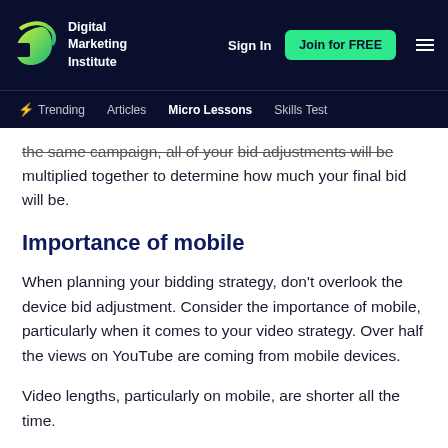Digital Marketing Institute | Sign In | Join for FREE | Trending | Articles | Micro Lessons | Skills Test
the same campaign, all of your bid adjustments will be multiplied together to determine how much your final bid will be.
Importance of mobile
When planning your bidding strategy, don't overlook the device bid adjustment. Consider the importance of mobile, particularly when it comes to your video strategy. Over half the views on YouTube are coming from mobile devices.
Video lengths, particularly on mobile, are shorter all the time.